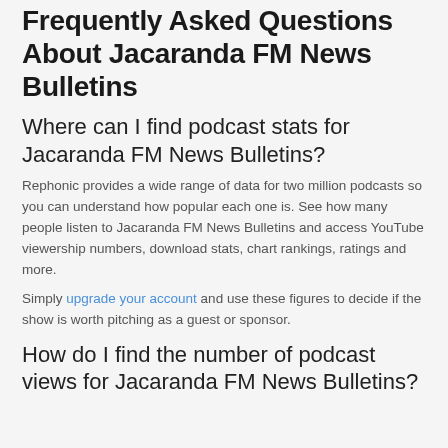Frequently Asked Questions About Jacaranda FM News Bulletins
Where can I find podcast stats for Jacaranda FM News Bulletins?
Rephonic provides a wide range of data for two million podcasts so you can understand how popular each one is. See how many people listen to Jacaranda FM News Bulletins and access YouTube viewership numbers, download stats, chart rankings, ratings and more.
Simply upgrade your account and use these figures to decide if the show is worth pitching as a guest or sponsor.
How do I find the number of podcast views for Jacaranda FM News Bulletins?